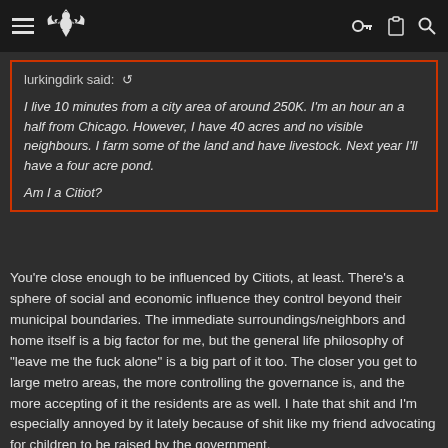Navigation header with hamburger menu, bird logo, key icon, clipboard icon, and search icon
lurkingdirk said: ↩

I live 10 minutes from a city area of around 250K. I'm an hour an a half from Chicago. However, I have 40 acres and no visible neighbours. I farm some of the land and have livestock. Next year I'll have a four acre pond.

Am I a Citiot?
You're close enough to be influenced by Citiots, at least. There's a sphere of social and economic influence they control beyond their municipal boundaries. The immediate surroundings/neighbors and home itself is a big factor for me, but the general life philosophy of "leave me the fuck alone" is a big part of it too. The closer you get to large metro areas, the more controlling the governance is, and the more accepting of it the residents are as well. I hate that shit and I'm especially annoyed by it lately because of shit like my friend advocating for children to be raised by the government.

Get me as far away from that shit as possible.